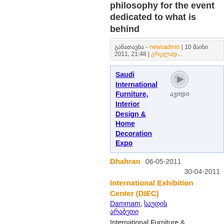philosophy for the event dedicated to what is behind
განათავსა - newsadmin | 10 მაისი 2011, 21:48 | გრცლად...
Saudi International Furniture, Interior Design & Home Decoration Expo
Dhahran  06-05-2011
30-04-2011
International Exhibition Center (DIEC)
Dammam, საუდის არაბეთი
International Furniture & Decoration Exhibition 'Ideal Home' is an exclusive Trade Fair for the furnishing and interior products industries, held on a yearly basis since sixteen years at Dhahran Int'l Exhibitions Center. Specifically organized to attract key buyers and